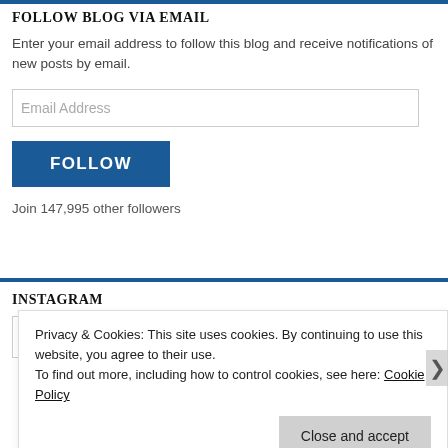FOLLOW BLOG VIA EMAIL
Enter your email address to follow this blog and receive notifications of new posts by email.
Email Address
FOLLOW
Join 147,995 other followers
INSTAGRAM
Privacy & Cookies: This site uses cookies. By continuing to use this website, you agree to their use.
To find out more, including how to control cookies, see here: Cookie Policy
Close and accept